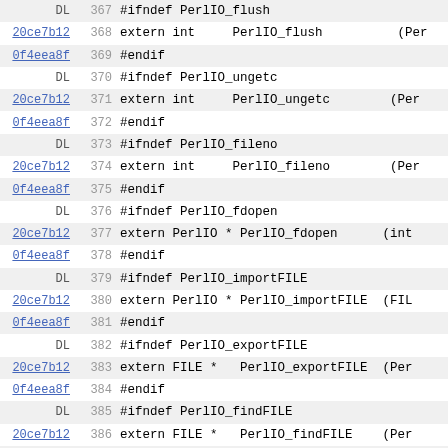[Figure (screenshot): Source code diff/annotated view showing lines 367-398 of a C header file with PerlIO function declarations, with commit hashes DL, 20ce7b12, 0f4eea8f on the left, line numbers in the middle, and code on the right.]